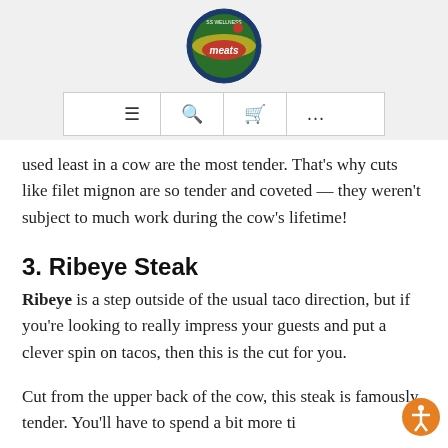[Figure (logo): SS Wellness Meats circular logo with globe, green and yellow colors, red 'meats' text in center]
≡  🔍  🛒  ...
used least in a cow are the most tender. That's why cuts like filet mignon are so tender and coveted — they weren't subject to much work during the cow's lifetime!
3. Ribeye Steak
Ribeye is a step outside of the usual taco direction, but if you're looking to really impress your guests and put a clever spin on tacos, then this is the cut for you.
Cut from the upper back of the cow, this steak is famously tender. You'll have to spend a bit more time and in some delicious it tends to be a classic